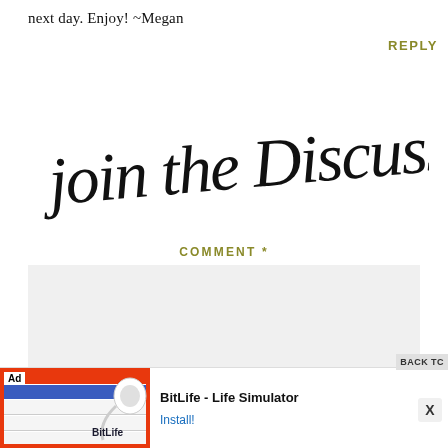next day. Enjoy! ~Megan
REPLY
[Figure (illustration): Handwritten calligraphy script reading 'join the Discussion']
COMMENT *
[Figure (other): Empty comment text area input box with light gray background]
NAME *
[Figure (screenshot): Ad banner for BitLife - Life Simulator app with orange background on left and install button on right]